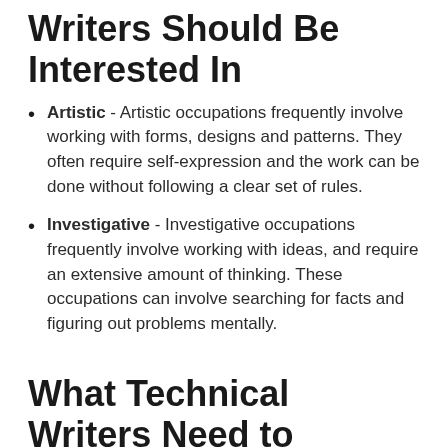Writers Should Be Interested In
Artistic - Artistic occupations frequently involve working with forms, designs and patterns. They often require self-expression and the work can be done without following a clear set of rules.
Investigative - Investigative occupations frequently involve working with ideas, and require an extensive amount of thinking. These occupations can involve searching for facts and figuring out problems mentally.
What Technical Writers Need to